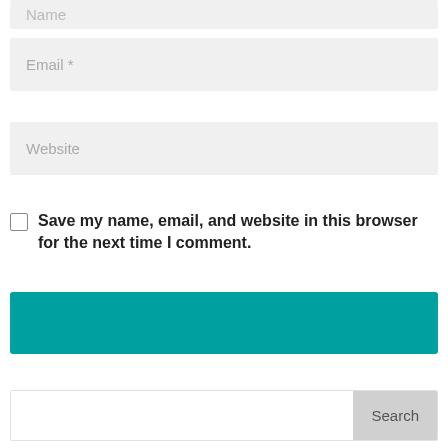Name
Email *
Website
Save my name, email, and website in this browser for the next time I comment.
SUBMIT COMMENT
Search